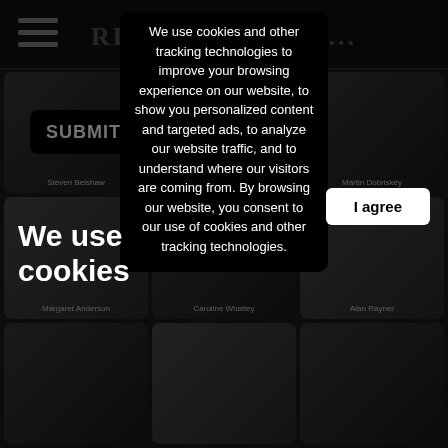REMEMBER ME...
[Figure (screenshot): Website screenshot showing a grid of person photo cards with names: Steven Belshaw, Joan Fahy, Martin Dobriskey, Margaret Anderson, Caroline Whatley, Alan Rayner, and more rows below. Dark themed website with hamburger menu and search buttons (SUBMIT, SEARCH).]
We use cookies
We use cookies and other tracking technologies to improve your browsing experience on our website, to show you personalized content and targeted ads, to analyze our website traffic, and to understand where our visitors are coming from. By browsing our website, you consent to our use of cookies and other tracking technologies.
I agree